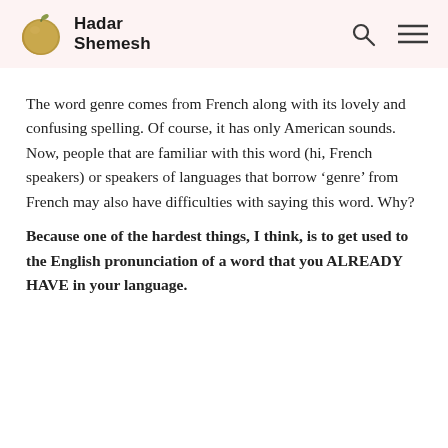Hadar Shemesh
The word genre comes from French along with its lovely and confusing spelling. Of course, it has only American sounds.
Now, people that are familiar with this word (hi, French speakers) or speakers of languages that borrow ‘genre’ from French may also have difficulties with saying this word. Why?
Because one of the hardest things, I think, is to get used to the English pronunciation of a word that you ALREADY HAVE in your language.